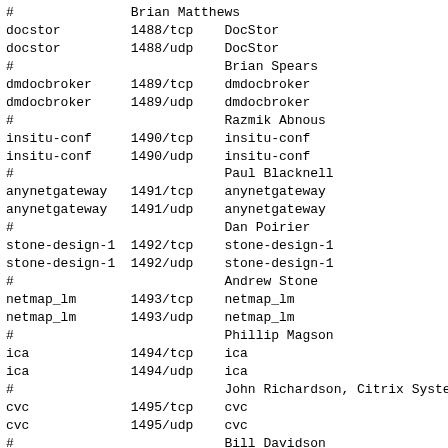| service | port/proto | description/name |
| --- | --- | --- |
| # |  | Brian Matthews |
| docstor | 1488/tcp | DocStor |
| docstor | 1488/udp | DocStor |
| # |  | Brian Spears |
| dmdocbroker | 1489/tcp | dmdocbroker |
| dmdocbroker | 1489/udp | dmdocbroker |
| # |  | Razmik Abnous |
| insitu-conf | 1490/tcp | insitu-conf |
| insitu-conf | 1490/udp | insitu-conf |
| # |  | Paul Blacknell |
| anynetgateway | 1491/tcp | anynetgateway |
| anynetgateway | 1491/udp | anynetgateway |
| # |  | Dan Poirier |
| stone-design-1 | 1492/tcp | stone-design-1 |
| stone-design-1 | 1492/udp | stone-design-1 |
| # |  | Andrew Stone |
| netmap_lm | 1493/tcp | netmap_lm |
| netmap_lm | 1493/udp | netmap_lm |
| # |  | Phillip Magson |
| ica | 1494/tcp | ica |
| ica | 1494/udp | ica |
| # |  | John Richardson, Citrix Syste |
| cvc | 1495/tcp | cvc |
| cvc | 1495/udp | cvc |
| # |  | Bill Davidson |
| liberty-lm | 1496/tcp | liberty-lm |
| liberty-lm | 1496/udp | liberty-lm |
| # |  | Jim Rogers |
| rfx-lm | 1497/tcp | rfx-lm |
| rfx-lm | 1497/udp | rfx-lm |
| # |  | Bill Ric... |